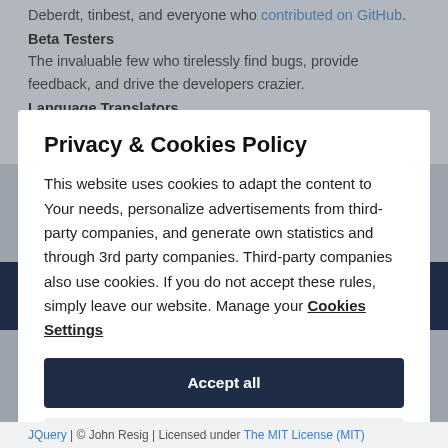Deberdt, tinbest, and everyone who contributed on GitHub.
Beta Testers
The invaluable few who tirelessly find bugs, provide feedback, and drive the developers crazier.
Language Translators
Thank you for your efforts which make it possible for people all
Privacy & Cookies Policy
This website uses cookies to adapt the content to Your needs, personalize advertisements from third-party companies, and generate own statistics and through 3rd party companies. Third-party companies also use cookies. If you do not accept these rules, simply leave our website. Manage your Cookies Settings
Accept all
Reject all
JQuery | © John Resig | Licensed under The MIT License (MIT)